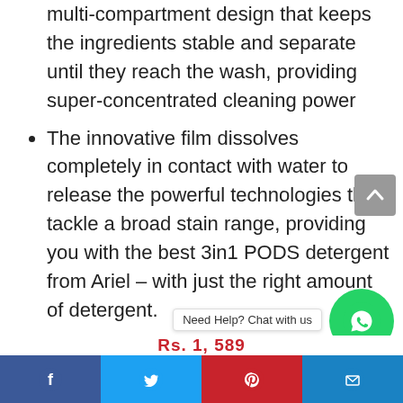3in1 PODS Washing Capsules have a unique multi-compartment design that keeps the ingredients stable and separate until they reach the wash, providing super-concentrated cleaning power
The innovative film dissolves completely in contact with water to release the powerful technologies that tackle a broad stain range, providing you with the best 3in1 PODS detergent from Ariel – with just the right amount of detergent.
3in1 – Clean, Lifts Stains & Brightens HOW TO DOSE The PODS have to be put in the drum towards the back first before putting the laundry on top. for soft to medium water, use 1 to 2...
Need Help? Chat with us | Facebook | Twitter | Pinterest | Email | Rs. 1,589